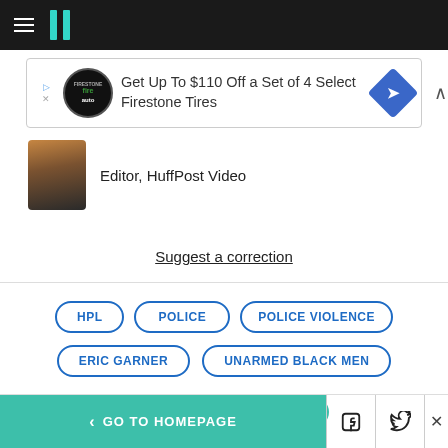HuffPost navigation bar
[Figure (screenshot): Advertisement banner: Get Up To $110 Off a Set of 4 Select Firestone Tires with Firestone auto logo and blue diamond arrow sign]
Editor, HuffPost Video
Suggest a correction
HPL
POLICE
POLICE VIOLENCE
ERIC GARNER
UNARMED BLACK MEN
< GO TO HOMEPAGE